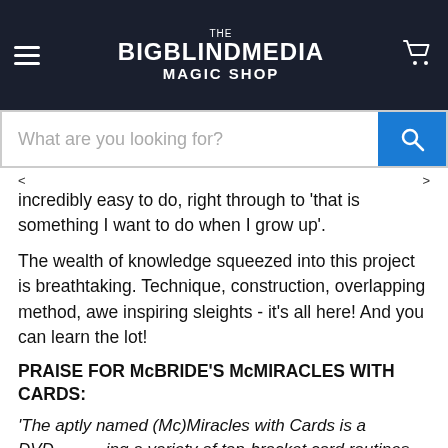THE BIGBLINDMEDIA MAGIC SHOP
What are you looking for?
incredibly easy to do, right through to 'that is something I want to do when I grow up'.
The wealth of knowledge squeezed into this project is breathtaking. Technique, construction, overlapping method, awe inspiring sleights - it's all here! And you can learn the lot!
PRAISE FOR McBRIDE'S McMIRACLES WITH CARDS:
'The aptly named (Mc)Miracles with Cards is a DVD showcasing a variety of top-bracket card routines. The methods are clever and totally baffling and will suit all skill levels; from self-working to advanced. Fans of George's previous work